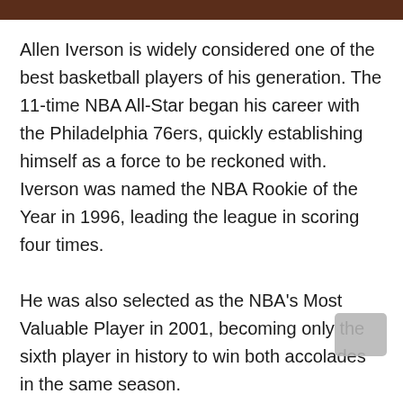[Figure (other): Dark brown horizontal decorative bar at top of page]
Allen Iverson is widely considered one of the best basketball players of his generation. The 11-time NBA All-Star began his career with the Philadelphia 76ers, quickly establishing himself as a force to be reckoned with. Iverson was named the NBA Rookie of the Year in 1996, leading the league in scoring four times.

He was also selected as the NBA's Most Valuable Player in 2001, becoming only the sixth player in history to win both accolades in the same season.